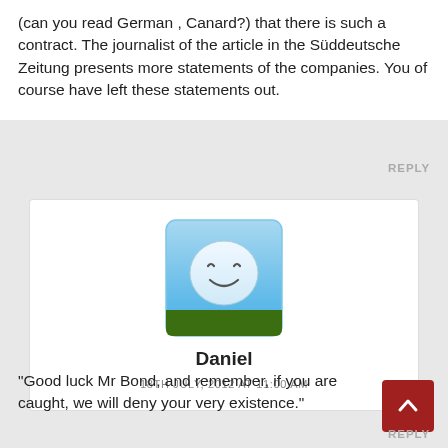(can you read German , Canard?) that there is such a contract. The journalist of the article in the Süddeutsche Zeitung presents more statements of the companies. You of course have left these statements out.
REPLY
[Figure (illustration): Avatar image of a smiling cartoon face on a blue/green gradient square with a dark green bottom strip]
Daniel
18TH JULY, 2012 AT 11:00 AM
“Good luck Mr Bond, and remember, if you are caught, we will deny your very existence.”
REPLY